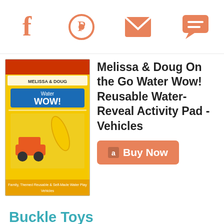Social share icons: Facebook, Pinterest, Email, Comment
Melissa & Doug On the Go Water Wow! Reusable Water-Reveal Activity Pad - Vehicles
[Figure (photo): Product image of Melissa & Doug Water Wow Vehicles activity pad with yellow packaging]
Buy Now
Buckle Toys
Many toddlers can be obsessed with buckles and therefore these buckle toys make perfect travel toys for toddlers as there are no loose parts. You may need to unsnap the buckles for your toddler but they will love doing them up again and again.
Some buckle toys have extra things to do, like matching colors and zippers.